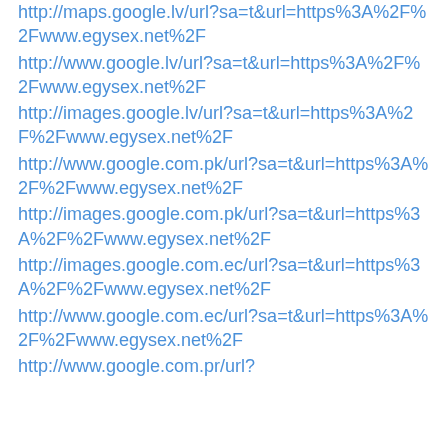http://maps.google.lv/url?sa=t&url=https%3A%2F%2Fwww.egysex.net%2F
http://www.google.lv/url?sa=t&url=https%3A%2F%2Fwww.egysex.net%2F
http://images.google.lv/url?sa=t&url=https%3A%2F%2Fwww.egysex.net%2F
http://www.google.com.pk/url?sa=t&url=https%3A%2F%2Fwww.egysex.net%2F
http://images.google.com.pk/url?sa=t&url=https%3A%2F%2Fwww.egysex.net%2F
http://images.google.com.ec/url?sa=t&url=https%3A%2F%2Fwww.egysex.net%2F
http://www.google.com.ec/url?sa=t&url=https%3A%2F%2Fwww.egysex.net%2F
http://www.google.com.pr/url?